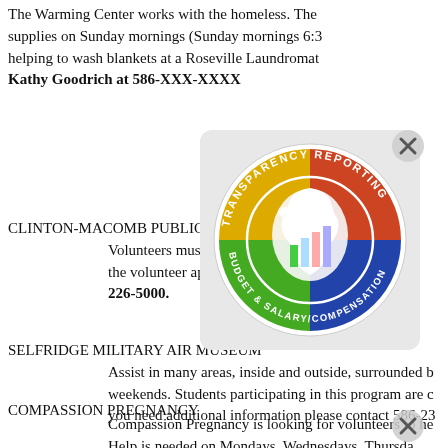The Warming Center works with the homeless. The supplies on Sunday mornings (Sunday mornings 6:3 helping to wash blankets at a Roseville Laundromatat. Kathy Goodrich at 586-XXX-XXXX.
[Figure (logo): Transparency Reporting - Budget & Salary/Compensation circular logo with Michigan state silhouette and bar chart]
CLINTON-MACOMB PUBLIC L... Volunteers must live in C... b Tw the volunteer application... lder th 226-5000.
SELFRIDGE MILITARY AIR MUSEUM
Assist in many areas, inside and outside, surrounded b weekends. Students participating in this program are c you need additional information please contact 586-23...
COMPASSION PREGNANCY
Compassion Pregnancy is looking for volunteers to he Help is needed on Mondays, Wednesdays, Thursda 100 (north of 16 mile next to Taco Bell). If you are i S.